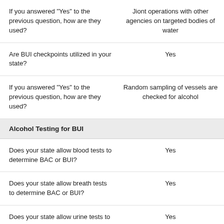| Question | Answer |
| --- | --- |
| If you answered "Yes" to the previous question, how are they used? | Jiont operations with other agencies on targeted bodies of water |
| Are BUI checkpoints utilized in your state? | Yes |
| If you answered "Yes" to the previous question, how are they used? | Random sampling of vessels are checked for alcohol |
| Alcohol Testing for BUI |  |
| Does your state allow blood tests to determine BAC or BUI? | Yes |
| Does your state allow breath tests to determine BAC or BUI? | Yes |
| Does your state allow urine tests to determine BAC or BUI? | Yes |
| Test Usage in Criminal Evidence |  |